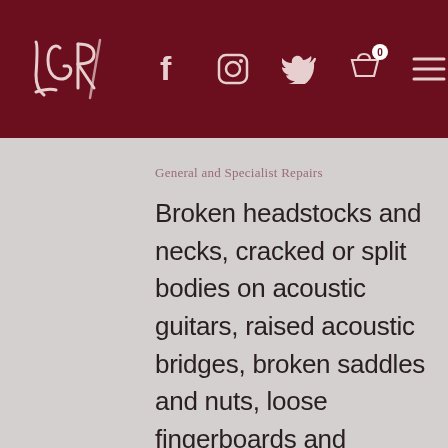LGR logo with social media icons: Facebook, Instagram, Twitter, cart (0), menu
General and Specialist Repairs
Broken headstocks and necks, cracked or split bodies on acoustic guitars, raised acoustic bridges, broken saddles and nuts, loose fingerboards and binding, non-working vibrato systems, twisted necks and fingerboards, broken pickups and many more ailments are all daily repairs undertaken here.